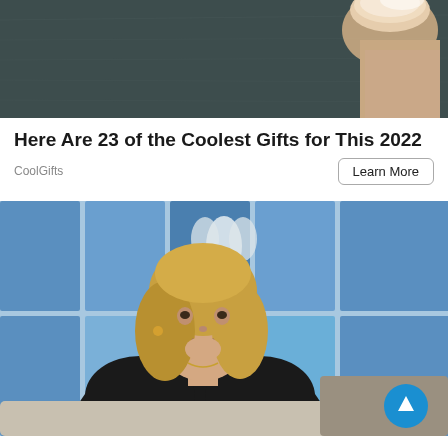[Figure (photo): Close-up photo of fingernails/toenails on dark textured background]
Here Are 23 of the Coolest Gifts for This 2022
CoolGifts
[Figure (photo): Woman with blonde hair wearing black top, sitting on a couch with hand on chin, blue panel background, with a circular blue scroll-up button in the lower right corner]
Ashburn: Doctor Kellyann Says Weight Loss After 60